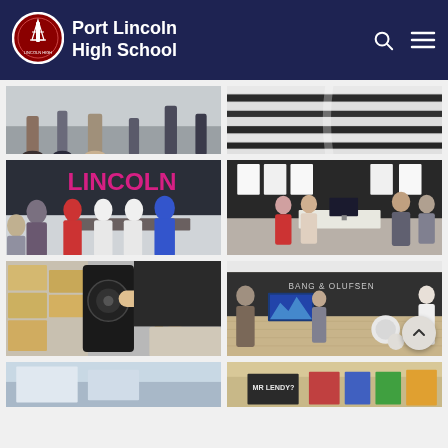[Figure (logo): Port Lincoln High School logo — circular red badge with tower/pylon emblem]
Port Lincoln High School
[Figure (photo): People walking on a tiled floor in a gallery or public space]
[Figure (photo): Close-up of a book spine or layered architectural detail in black and white stripes]
[Figure (photo): Students and adults sitting around a table in a meeting room with a pink neon sign on the wall]
[Figure (photo): People standing in a design studio reviewing work and exhibits displayed on the wall]
[Figure (photo): A student closely examining a large dark speaker or audio equipment]
[Figure (photo): Bang & Olufsen store interior with people browsing audio equipment and TVs]
[Figure (photo): Partial view of a photo — bottom row left]
[Figure (photo): Partial view of a photo — bottom row right]